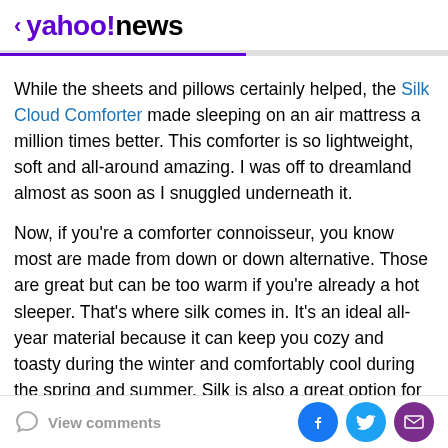< yahoo!news
While the sheets and pillows certainly helped, the Silk Cloud Comforter made sleeping on an air mattress a million times better. This comforter is so lightweight, soft and all-around amazing. I was off to dreamland almost as soon as I snuggled underneath it.
Now, if you're a comforter connoisseur, you know most are made from down or down alternative. Those are great but can be too warm if you're already a hot sleeper. That's where silk comes in. It's an ideal all-year material because it can keep you cozy and toasty during the winter and comfortably cool during the spring and summer. Silk is also a great option for people with allergies because it has naturally hypoallergenic
View comments